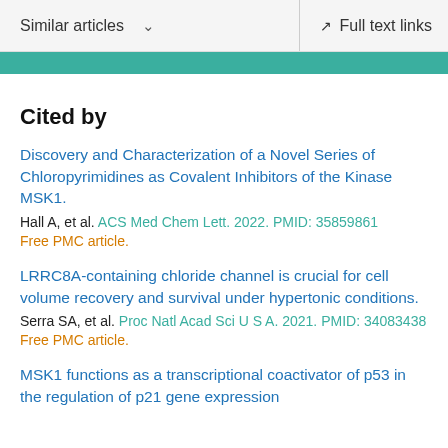Similar articles  ∨   Full text links
Cited by
Discovery and Characterization of a Novel Series of Chloropyrimidines as Covalent Inhibitors of the Kinase MSK1.
Hall A, et al. ACS Med Chem Lett. 2022. PMID: 35859861
Free PMC article.
LRRC8A-containing chloride channel is crucial for cell volume recovery and survival under hypertonic conditions.
Serra SA, et al. Proc Natl Acad Sci U S A. 2021. PMID: 34083438
Free PMC article.
MSK1 functions as a transcriptional coactivator of p53 in the regulation of p21 gene expression